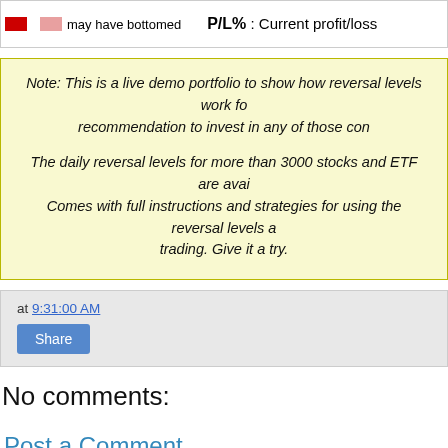may have bottomed   P/L% : Current profit/loss
Note: This is a live demo portfolio to show how reversal levels work for recommendation to invest in any of those companies.

The daily reversal levels for more than 3000 stocks and ETF are available. Comes with full instructions and strategies for using the reversal levels and trading. Give it a try.
at 9:31:00 AM
Share
No comments:
Post a Comment